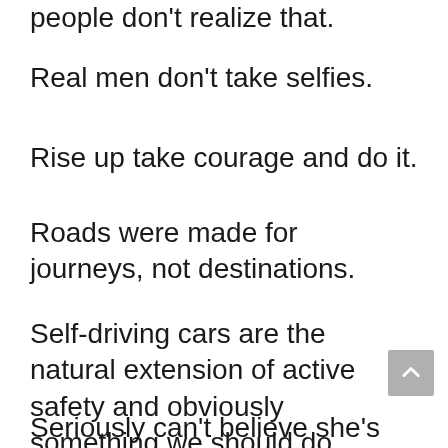people don't realize that.
Real men don't take selfies.
Rise up take courage and do it.
Roads were made for journeys, not destinations.
Self-driving cars are the natural extension of active safety and obviously something we should do.
Seriously can't believe she's mine.